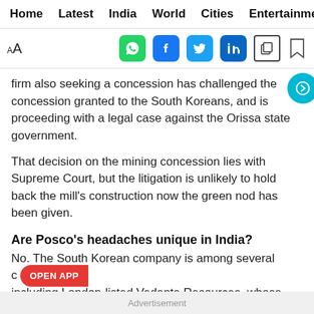Home  Latest  India  World  Cities  Entertainment
firm also seeking a concession has challenged the concession granted to the South Koreans, and is proceeding with a legal case against the Orissa state government.
That decision on the mining concession lies with Supreme Court, but the litigation is unlikely to hold back the mill's construction now the green nod has been given.
Are Posco's headaches unique in India?
No. The South Korean company is among several c... including London-listed Vedanta Resources, whose Indian projects have come under scrutiny by an environment ministry that has been tightening rules.